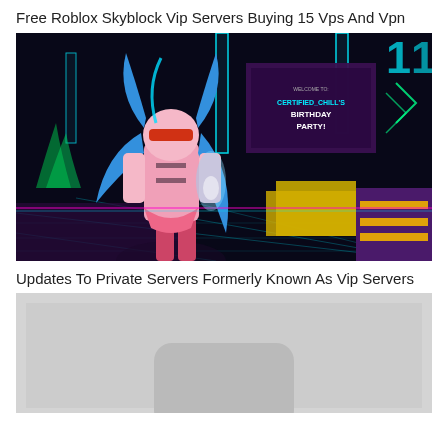Free Roblox Skyblock Vip Servers Buying 15 Vps And Vpn
[Figure (screenshot): A neon-lit virtual world screenshot showing an anime-style character in a pink outfit with blue hair, standing in a futuristic dark environment with cyan and magenta neon lights. A billboard in the background reads 'WELCOME TO: CERTIFIED_CHILL'S BIRTHDAY PARTY!']
Updates To Private Servers Formerly Known As Vip Servers
[Figure (screenshot): A grey/light colored screenshot showing a rounded rectangular shape at the bottom center, partially cropped.]